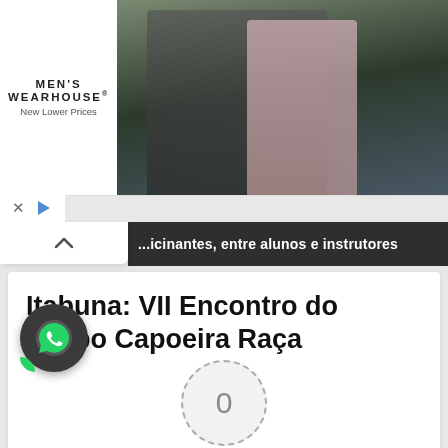[Figure (screenshot): Men's Wearhouse advertisement banner with couple in formal wear and boy's suit for $69.99]
...icinantes, entre alunos e instrutores
Itabuna: VII Encontro do Grupo Capoeira Raça
[Figure (other): Navigation dots showing 6 slides, first one active]
[Figure (other): WhatsApp floating action button]
[Figure (other): Circular button with number 0]